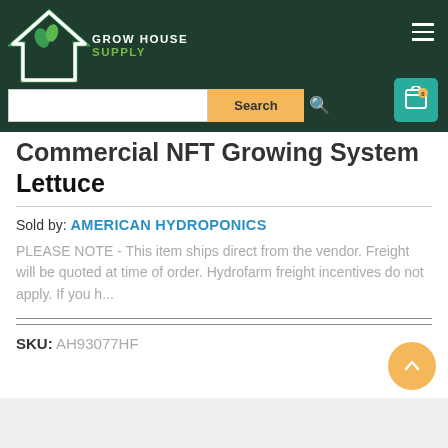[Figure (logo): Grow House Supply logo with green house icon and text]
Commercial NFT Growing System Lettuce
Sold by: AMERICAN HYDROPONICS
PLEASE NOTE - This item ships direct from the vendor. Freight will be quoted at time of order. Hydrofarm freight incentives do not apply. If you h...
SKU: AH93077HF